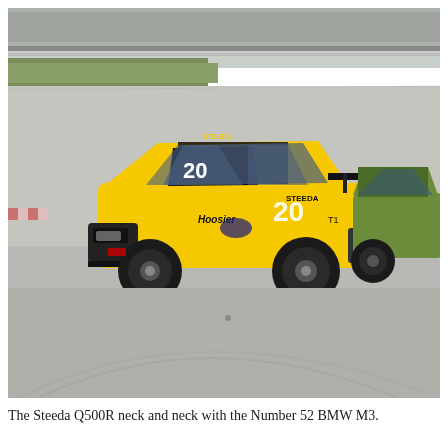[Figure (photo): A yellow Ford Mustang racing car numbered 20 with Steeda and Hoosier branding and black racing stripes on a race track, with a partially visible green car (BMW M3, number 52) in the background right. Grandstands are visible in the far background.]
The Steeda Q500R neck and neck with the Number 52 BMW M3.